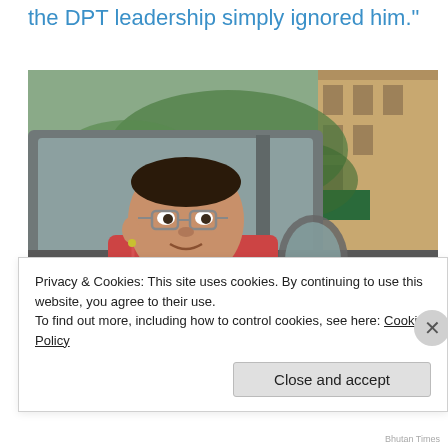the DPT leadership simply ignored him."
[Figure (photo): A man sitting in the driver's seat of a vehicle, wearing a red/pink traditional Bhutanese gho (robe), looking out the open window with a slight smile. A green landscape and a traditional building are visible in the background through the car window.]
Privacy & Cookies: This site uses cookies. By continuing to use this website, you agree to their use.
To find out more, including how to control cookies, see here: Cookie Policy
Close and accept